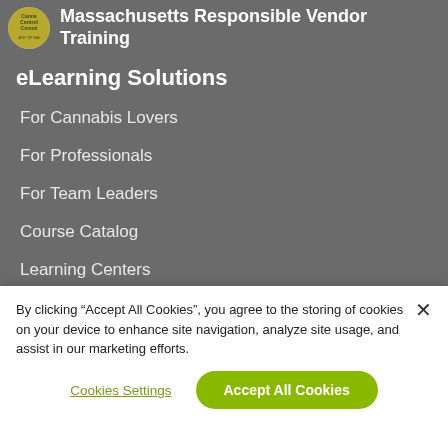Massachusetts Responsible Vendor Training
eLearning Solutions
For Cannabis Lovers
For Professionals
For Team Leaders
Course Catalog
Learning Centers
By clicking “Accept All Cookies”, you agree to the storing of cookies on your device to enhance site navigation, analyze site usage, and assist in our marketing efforts.
Cookies Settings
Accept All Cookies